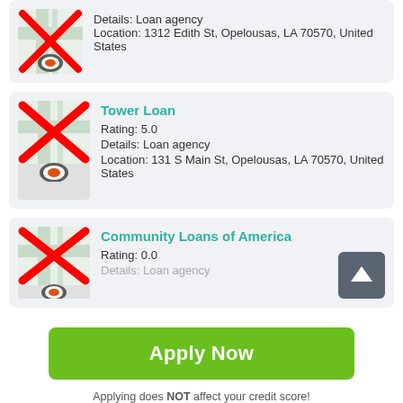[Figure (screenshot): Map icon with red X overlay and location pin, partial card for first loan agency]
Details: Loan agency
Location: 1312 Edith St, Opelousas, LA 70570, United States
[Figure (screenshot): Map icon with red X overlay and location pin for Tower Loan]
Tower Loan
Rating: 5.0
Details: Loan agency
Location: 131 S Main St, Opelousas, LA 70570, United States
[Figure (screenshot): Map icon with red X overlay and location pin for Community Loans of America]
Community Loans of America
Rating: 0.0
Details: Loan agency
[Figure (other): Scroll to top button with upward arrow]
Apply Now
Applying does NOT affect your credit score!
No credit check to apply.